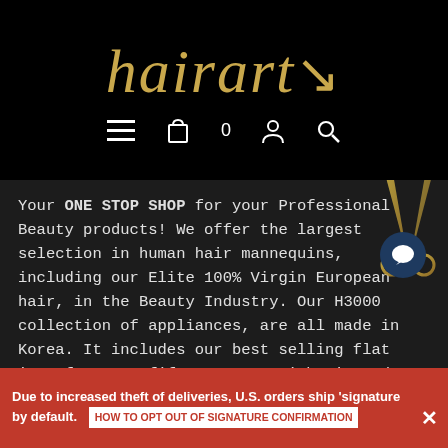[Figure (logo): HairArt logo in gold italic serif font on black background]
Your ONE STOP SHOP for your Professional Beauty products! We offer the largest selection in human hair mannequins, including our Elite 100% Virgin European hair, in the Beauty Industry. Our H3000 collection of appliances, are all made in Korea. It includes our best selling flat iron for over fifteen years with Diamond, Ceramic Tourmaline! Check our elite variety of Hair Extensions made with 100% Human hair. Available in 6 application methods, I-Tip, Fusion, Weft, Tape-In, Clip-In and Halo extensions.
Payment Method
Safe, secure checkout.
Due to increased theft of deliveries, U.S. orders ship 'signature required' by default.  HOW TO OPT OUT OF SIGNATURE CONFIRMATION